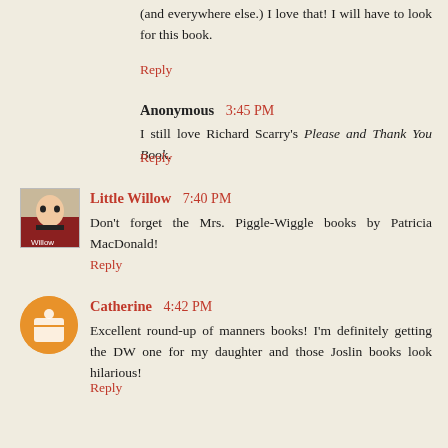(and everywhere else.) I love that! I will have to look for this book.
Reply
Anonymous 3:45 PM
I still love Richard Scarry's Please and Thank You Book.
Reply
Little Willow 7:40 PM
Don't forget the Mrs. Piggle-Wiggle books by Patricia MacDonald!
Reply
Catherine 4:42 PM
Excellent round-up of manners books! I'm definitely getting the DW one for my daughter and those Joslin books look hilarious!
Reply